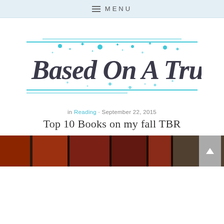MENU
[Figure (logo): Based On A True Story blog logo with cursive handwritten text and teal/cyan decorative dots and horizontal lines]
in Reading · September 22, 2015
Top 10 Books on my fall TBR
[Figure (photo): Partial view of book covers in a strip at the bottom of the page]